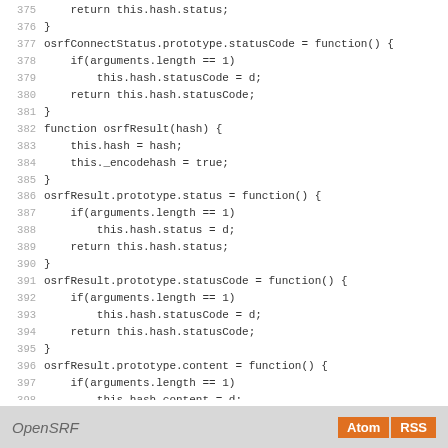375     return this.hash.status;
376 }
377 osrfConnectStatus.prototype.statusCode = function() {
378     if(arguments.length == 1)
379         this.hash.statusCode = d;
380     return this.hash.statusCode;
381 }
382 function osrfResult(hash) {
383     this.hash = hash;
384     this._encodehash = true;
385 }
386 osrfResult.prototype.status = function() {
387     if(arguments.length == 1)
388         this.hash.status = d;
389     return this.hash.status;
390 }
391 osrfResult.prototype.statusCode = function() {
392     if(arguments.length == 1)
393         this.hash.statusCode = d;
394     return this.hash.statusCode;
395 }
396 osrfResult.prototype.content = function() {
397     if(arguments.length == 1)
398         this.hash.content = d;
399     return this.hash.content;
400 }
401
402
403
OpenSRF  Atom  RSS